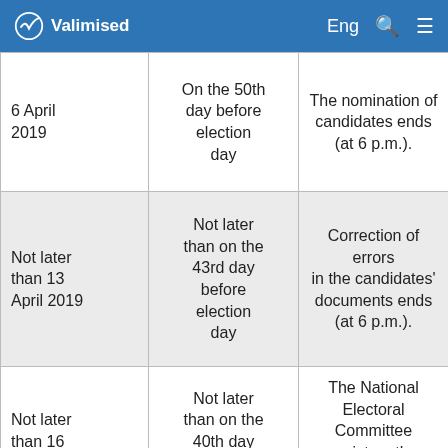Valimised | Eng
| 6 April 2019 | On the 50th day before election day | The nomination of candidates ends (at 6 p.m.). |
| Not later than 13 April 2019 | Not later than on the 43rd day before election day | Correction of errors in the candidates' documents ends (at 6 p.m.). |
| Not later than 16 April 2019 | Not later than on the 40th day before election | The National Electoral Committee registers the candidates nominated in |